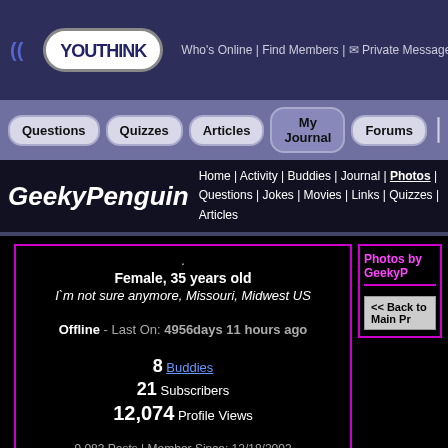YouThink | Who's Online | Find Members | Private Messages
Questions | Quizzes | Articles | My Journal | Forums
GeekyPenguin — Home | Activity | Buddies | Journal | Photos | Questions | Jokes | Movies | Links | Quizzes | Articles
Female, 35 years old
I`m not sure anymore, Missouri, Midwest US
Offline - Last On: 4956days 11 hours ago
8 Buddies
21 Subscribers
12,074 Profile Views
9,083 Posts | Member Since: 12/18/2003
Photos by GeekyP
<< Back to Main Pr
Private Message
Buddy Invite | Subscribe
Link to this profile: